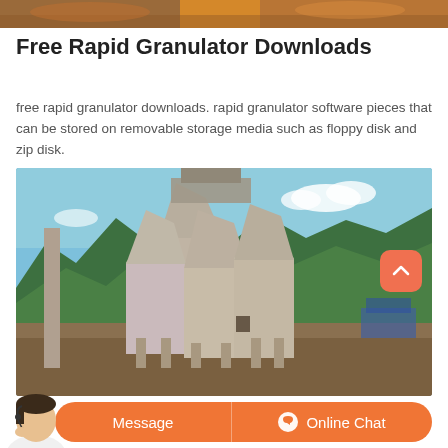[Figure (photo): Partial image of food items at top of page (cropped)]
Free Rapid Granulator Downloads
free rapid granulator downloads. rapid granulator software pieces that can be stored on removable storage media such as floppy disk and zip disk.
[Figure (photo): Industrial cement silos or granulator towers with conical tops, constructed from concrete, set against blue sky with green mountains in background. A scroll-to-top button (orange, with caret) is overlaid in top-right corner of image.]
Message
Online Chat